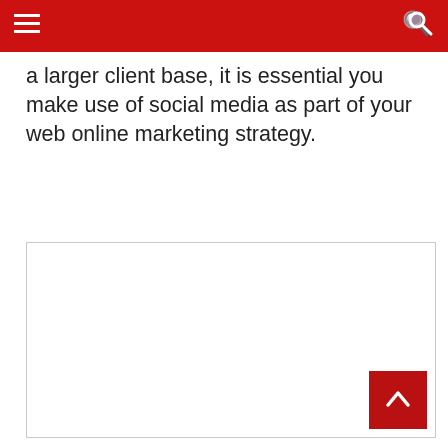a larger client base, it is essential you make use of social media as part of your web online marketing strategy.
[Figure (other): Empty white rectangular image placeholder with a light grey border]